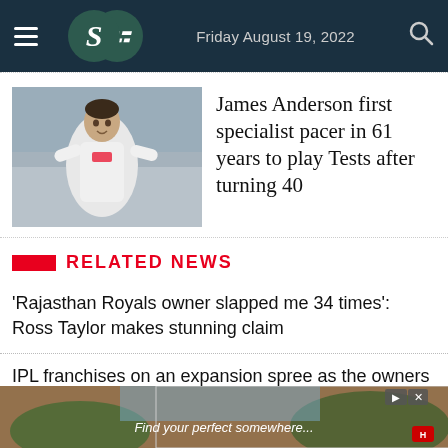Friday August 19, 2022
[Figure (photo): James Anderson cricketer celebrating on the field in white cricket kit]
James Anderson first specialist pacer in 61 years to play Tests after turning 40
RELATED NEWS
'Rajasthan Royals owner slapped me 34 times': Ross Taylor makes stunning claim
IPL franchises on an expansion spree as the owners of MI, CSK, SRH, DC, RR, and LSG buy all six teams in South Africa's new T20 league
[Figure (photo): Advertisement banner: Find your perfect somewhere]